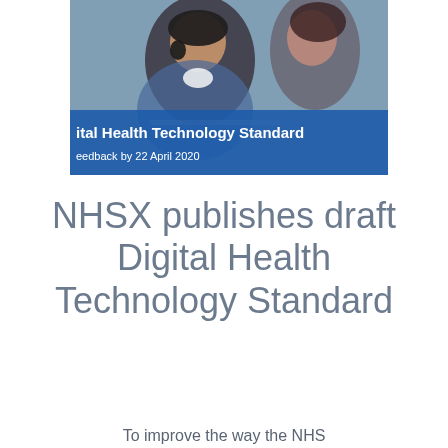[Figure (photo): Photo of two women at a laptop, with a blue overlay banner showing 'Digital Health Technology Standard' and 'feedback by 22 April 2020']
NHSX publishes draft Digital Health Technology Standard
To improve the way the NHS